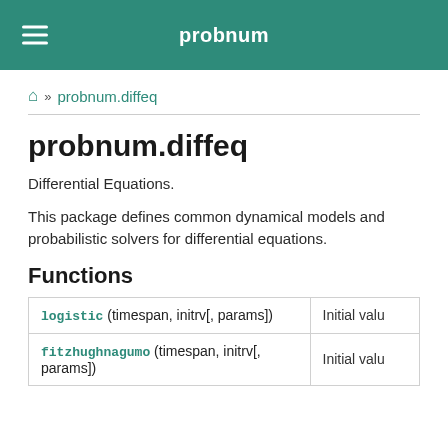probnum
» probnum.diffeq
probnum.diffeq
Differential Equations.
This package defines common dynamical models and probabilistic solvers for differential equations.
Functions
|  |  |
| --- | --- |
| logistic (timespan, initrv[, params]) | Initial valu |
| fitzhughnagumo (timespan, initrv[, params]) | Initial valu |